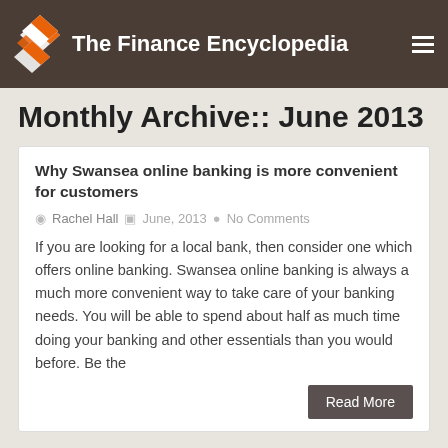The Finance Encyclopedia
Monthly Archive:: June 2013
Why Swansea online banking is more convenient for customers
Rachel Hall   June, 2013   No Comments
If you are looking for a local bank, then consider one which offers online banking. Swansea online banking is always a much more convenient way to take care of your banking needs. You will be able to spend about half as much time doing your banking and other essentials than you would before. Be the
Read More